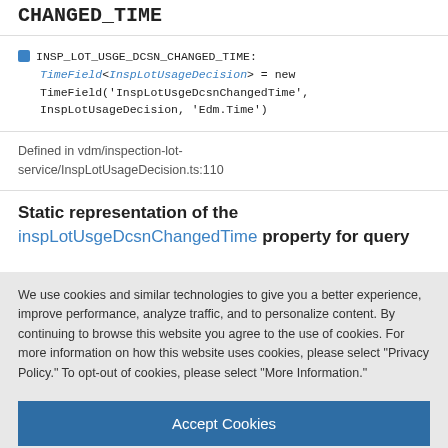CHANGED_TIME
INSP_LOT_USGE_DCSN_CHANGED_TIME: TimeField<InspLotUsageDecision> = new TimeField('InspLotUsgeDcsnChangedTime', InspLotUsageDecision, 'Edm.Time')
Defined in vdm/inspection-lot-service/InspLotUsageDecision.ts:110
Static representation of the inspLotUsgeDcsnChangedTime property for query
We use cookies and similar technologies to give you a better experience, improve performance, analyze traffic, and to personalize content. By continuing to browse this website you agree to the use of cookies. For more information on how this website uses cookies, please select "Privacy Policy." To opt-out of cookies, please select "More Information."
Accept Cookies
More Information
Privacy Policy | Powered by: TrustArc
StringField('InspLotUsgeDcsnChangedTime', ...) InspLotUsageDecision, 'Edm.String')